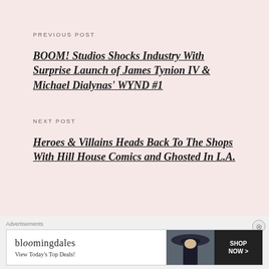PREVIOUS POST
BOOM! Studios Shocks Industry With Surprise Launch of James Tynion IV & Michael Dialynas' WYND #1
NEXT POST
Heroes & Villains Heads Back To The Shops With Hill House Comics and Ghosted In L.A.
Advertisements
[Figure (screenshot): Bloomingdale's advertisement banner with logo, 'View Today's Top Deals!' text, model in hat, and 'SHOP NOW >' button]